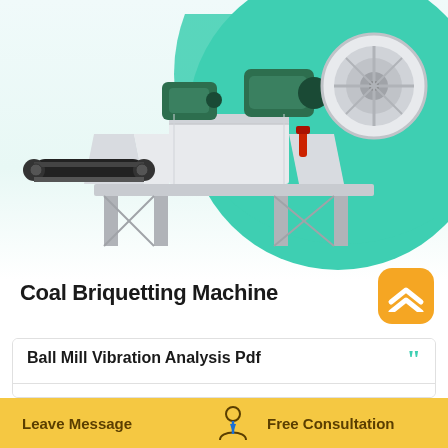[Figure (photo): Industrial coal briquetting machine — white heavy machinery with black belt conveyor on left, green motors on top, mounted on a metal frame. Shown against a teal circular background on a white/light gradient field.]
Coal Briquetting Machine
[Figure (logo): Orange rounded square badge with a white upward-pointing chevron/hat icon (two stacked chevron lines).]
Ball Mill Vibration Analysis Pdf
Ball Mill Shell Vibration Signal Analysis Strategy Based. DEM, FEM, Ball mill, Vibration
Leave Message   Free Consultation